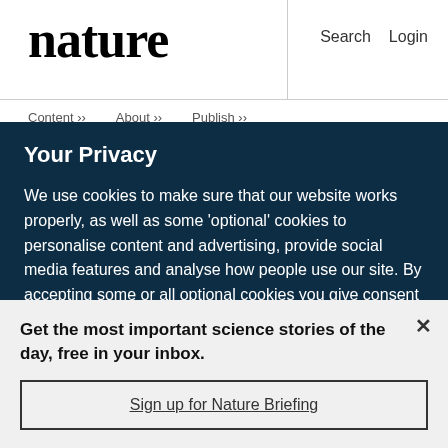nature   Search   Login
Content ›› About ›› Publish ››
Your Privacy
We use cookies to make sure that our website works properly, as well as some 'optional' cookies to personalise content and advertising, provide social media features and analyse how people use our site. By accepting some or all optional cookies you give consent to the processing of your personal data, including transfer to third parties, some in countries outside of the European Economic Area that do not offer the same data protection standards as the country where you live. You can decide which optional cookies to accept by clicking on 'Manage Settings', where you can
Get the most important science stories of the day, free in your inbox.
Sign up for Nature Briefing